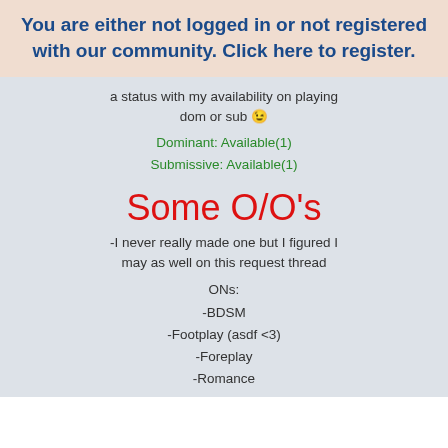You are either not logged in or not registered with our community. Click here to register.
a status with my availability on playing dom or sub :;
Dominant: Available(1)
Submissive: Available(1)
Some O/O's
-I never really made one but I figured I may as well on this request thread
ONs:
-BDSM
-Footplay (asdf <3)
-Foreplay
-Romance
-Furries (unf. If you want to do this with me I'd be happy to oblige)
-Pegging